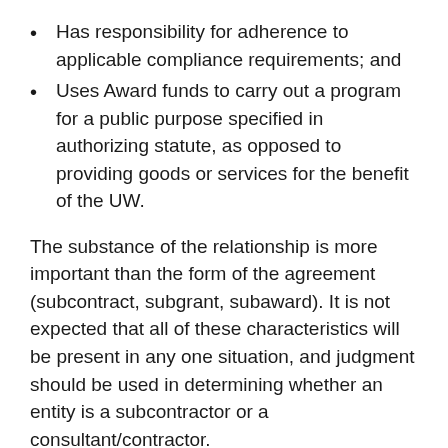Has responsibility for adherence to applicable compliance requirements; and
Uses Award funds to carry out a program for a public purpose specified in authorizing statute, as opposed to providing goods or services for the benefit of the UW.
The substance of the relationship is more important than the form of the agreement (subcontract, subgrant, subaward). It is not expected that all of these characteristics will be present in any one situation, and judgment should be used in determining whether an entity is a subcontractor or a consultant/contractor.
Determining Allowability